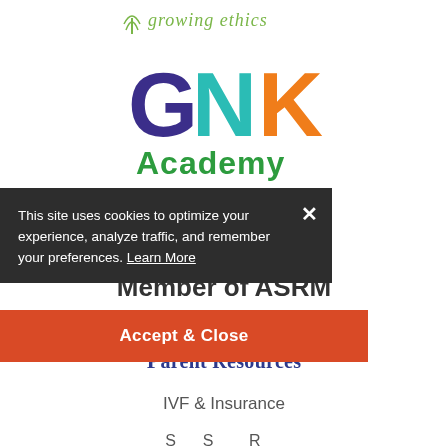[Figure (logo): Growing Ethics logo with tree icon and italic green text 'growing ethics']
[Figure (logo): GNK Academy logo with colorful letters G (purple), N (teal), K (orange) and 'Academy' in green below]
This site uses cookies to optimize your experience, analyze traffic, and remember your preferences. Learn More
Accept & Close
Member of ASRM
Parent Resources
IVF & Insurance
Success Rate